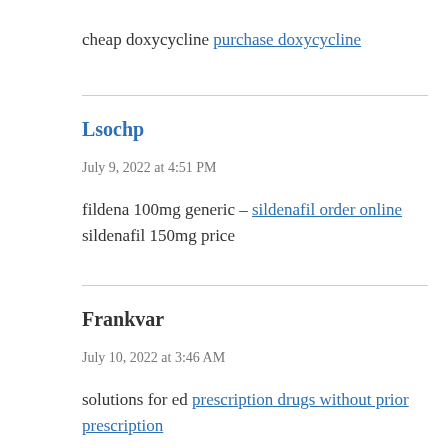cheap doxycycline purchase doxycycline
Lsochp
July 9, 2022 at 4:51 PM
fildena 100mg generic – sildenafil order online sildenafil 150mg price
Frankvar
July 10, 2022 at 3:46 AM
solutions for ed prescription drugs without prior prescription